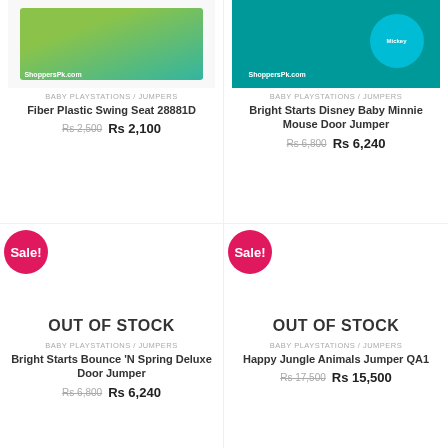[Figure (photo): Product image for Fiber Plastic Swing Seat 28881D with ShoppersPk.com watermark]
BABY PLAYSTATIONS / JUMPERS
Fiber Plastic Swing Seat 28881D
Rs 2,500  Rs 2,100
[Figure (photo): Product image for Bright Starts Disney Baby Minnie Mouse Door Jumper with ShoppersPk.com watermark]
BABY PLAYSTATIONS / JUMPERS
Bright Starts Disney Baby Minnie Mouse Door Jumper
Rs 6,800  Rs 6,240
[Figure (other): Out of stock product area for Bright Starts Bounce N Spring Deluxe Door Jumper with Sale badge]
OUT OF STOCK
BABY PLAYSTATIONS / JUMPERS
Bright Starts Bounce 'N Spring Deluxe Door Jumper
Rs 6,800  Rs 6,240
[Figure (other): Out of stock product area for Happy Jungle Animals Jumper QA1 with Sale badge]
OUT OF STOCK
BABY PLAYSTATIONS / JUMPERS
Happy Jungle Animals Jumper QA1
Rs 17,500  Rs 15,500